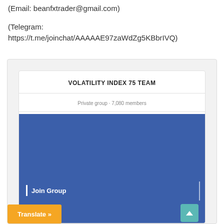(Email: beanfxtrader@gmail.com)
(Telegram: https://t.me/joinchat/AAAAAE97zaWdZg5KBbrIVQ)
[Figure (screenshot): Screenshot of a Telegram private group page titled 'VOLATILITY INDEX 75 TEAM' with 7,080 members, showing a 'Join Group' button on a blue background, a teal scroll-to-top button, and an orange 'Translate »' button at the bottom.]